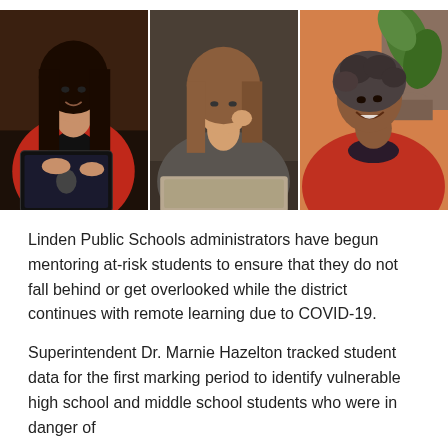[Figure (photo): Three-panel photo strip showing Linden Public Schools administrators working remotely. Left panel: a woman in a red jacket working on a tablet. Center panel: a woman with long hair talking on the phone while using a laptop. Right panel: a woman in a red top smiling, with a plant visible in the background.]
Linden Public Schools administrators have begun mentoring at-risk students to ensure that they do not fall behind or get overlooked while the district continues with remote learning due to COVID-19.
Superintendent Dr. Marnie Hazelton tracked student data for the first marking period to identify vulnerable high school and middle school students who were in danger of